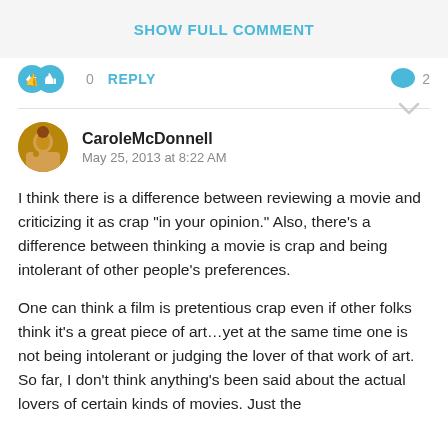SHOW FULL COMMENT
0  REPLY  2
CaroleMcDonnell
May 25, 2013 at 8:22 AM
I think there is a difference between reviewing a movie and criticizing it as crap "in your opinion." Also, there's a difference between thinking a movie is crap and being intolerant of other people's preferences.
One can think a film is pretentious crap even if other folks think it's a great piece of art…yet at the same time one is not being intolerant or judging the lover of that work of art. So far, I don't think anything's been said about the actual lovers of certain kinds of movies. Just the